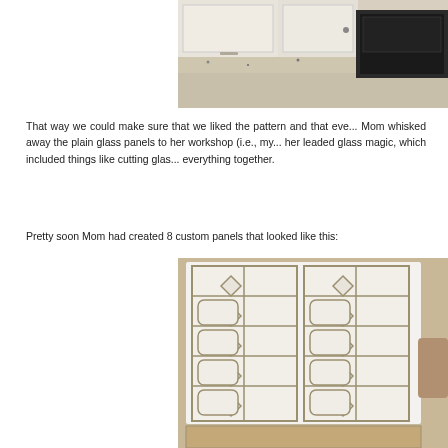[Figure (photo): Kitchen countertop with white cabinets and a black built-in appliance, granite countertop visible]
That way we could make sure that we liked the pattern and that eve... Mom whisked away the plain glass panels to her workshop (i.e., my... her leaded glass magic, which included things like cutting glas... everything together.
Pretty soon Mom had created 8 custom panels that looked like this:
[Figure (photo): Two leaded glass panels with geometric diamond and octagon patterns laid on a white cloth on a granite countertop]